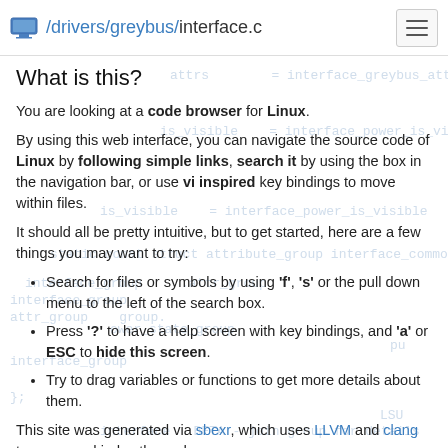/drivers/greybus/interface.c
What is this?
You are looking at a code browser for Linux.
By using this web interface, you can navigate the source code of Linux by following simple links, search it by using the box in the navigation bar, or use vi inspired key bindings to move within files.
It should all be pretty intuitive, but to get started, here are a few things you may want to try:
Search for files or symbols by using 'f', 's' or the pull down menu to the left of the search box.
Press '?' to have a help screen with key bindings, and 'a' or ESC to hide this screen.
Try to drag variables or functions to get more details about them.
This site was generated via sbexr, which uses LLVM and clang to parse and index the code.
sbexr is free software (as in "free speech"), under heavy development, sbexr.com and the Linux kernel source code